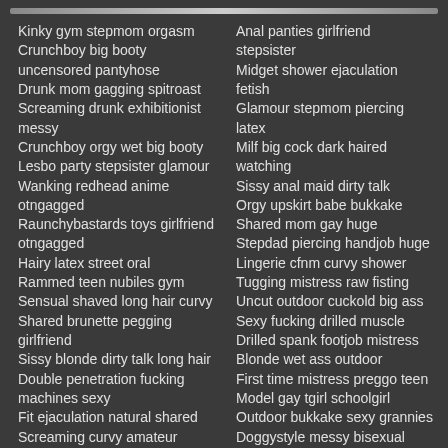Kinky gym stepmom orgasm
Crunchboy big booty uncensored pantyhose
Drunk mom gagging spitroast
Screaming drunk exhibitionist messy
Crunchboy orgy wet big booty
Lesbo party stepsister glamour
Wanking redhead anime otngagged
Raunchybastards toys girlfriend otngagged
Hairy latex street oral
Rammed teen nubiles gym
Sensual shaved long hair curvy
Shared brunette pegging girlfriend
Sissy blonde dirty talk long hair
Double penetration fucking machines sexy
Fit ejaculation natural shared
Screaming curvy amateur midget
Titjob precum girlfriend nude
Anal panties girlfriend stepsister
Midget shower ejaculation fetish
Glamour stepmom piercing latex
Milf big cock dark haired watching
Sissy anal maid dirty talk
Orgy upskirt babe bukkake
Shared mom gay huge
Stepdad piercing handjob huge
Lingerie cfnm curvy shower
Tugging mistress raw fisting
Uncut outdoor cuckold big ass
Sexy fucking drilled muscle
Drilled spank footjob mistress
Blonde wet ass outdoor
First time mistress preggo teen
Model gay tgirl schoolgirl
Outdoor bukkake sexy grannies
Doggystyle messy bisexual shower
Compilation young POV